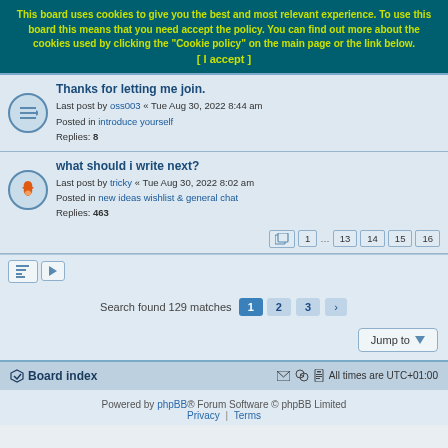This board uses cookies to give you the best and most relevant experience. To use this board this means that you need accept the policy. You can find out more about the cookies used by clicking the "Cookie policy" on the main page or the link below. [ I accept ]
Thanks for letting me join.
Last post by oss003 « Tue Aug 30, 2022 8:44 am
Posted in introduce yourself
Replies: 8
what should i write next?
Last post by tricky « Tue Aug 30, 2022 8:02 am
Posted in new ideas wishlist & general chat
Replies: 463
Search found 129 matches
Jump to
Board index   All times are UTC+01:00
Powered by phpBB® Forum Software © phpBB Limited
Privacy | Terms